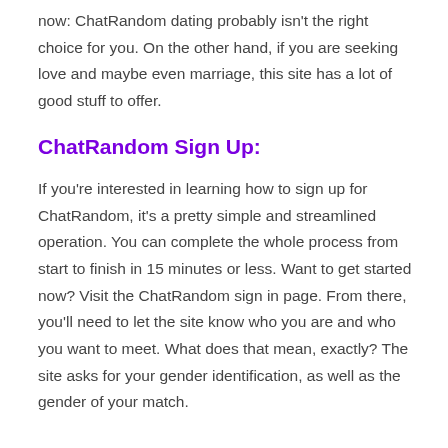now: ChatRandom dating probably isn't the right choice for you. On the other hand, if you are seeking love and maybe even marriage, this site has a lot of good stuff to offer.
ChatRandom Sign Up:
If you're interested in learning how to sign up for ChatRandom, it's a pretty simple and streamlined operation. You can complete the whole process from start to finish in 15 minutes or less. Want to get started now? Visit the ChatRandom sign in page. From there, you'll need to let the site know who you are and who you want to meet. What does that mean, exactly? The site asks for your gender identification, as well as the gender of your match.